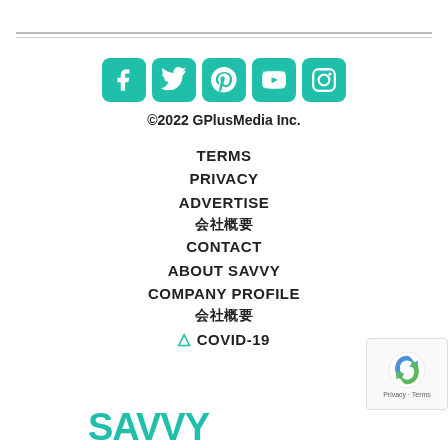[Figure (other): Social media icons row: Facebook, Twitter, Pinterest, YouTube, Instagram — teal rounded square buttons]
©2022 GPlusMedia Inc.
TERMS
PRIVACY
ADVERTISE
会社概要
CONTACT
ABOUT SAVVY
COMPANY PROFILE
会社概要
⚠ COVID-19
[Figure (logo): SAVVY logo in teal at bottom]
[Figure (other): Google reCAPTCHA badge bottom right]